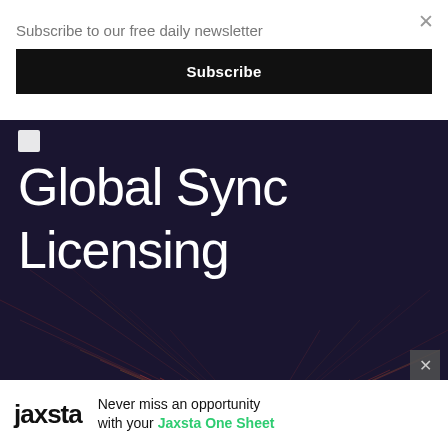Subscribe to our free daily newsletter
Subscribe
[Figure (illustration): Dark navy/purple background advertisement for Jaxsta Global Sync Licensing featuring large white text reading 'Global Sync Licensing' with decorative radiating orange/red light ray lines emanating from center-bottom, a small white square icon in top-left corner]
Never miss an opportunity with your Jaxsta One Sheet